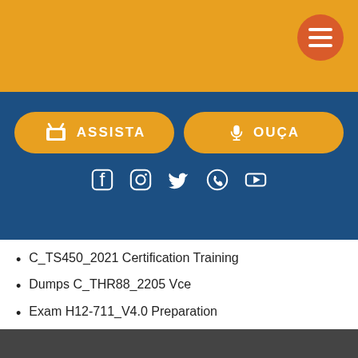[Figure (screenshot): Yellow header bar with hamburger menu button (orange circle with three white lines) in the top-right corner]
[Figure (infographic): Dark blue navigation bar with two yellow rounded buttons: ASSISTA (TV icon) and OUÇA (microphone icon), and social media icons below (Facebook, Instagram, Twitter, WhatsApp, YouTube)]
C_TS450_2021 Certification Training
Dumps C_THR88_2205 Vce
Exam H12-711_V4.0 Preparation
Valid MB-230 Exam Materials